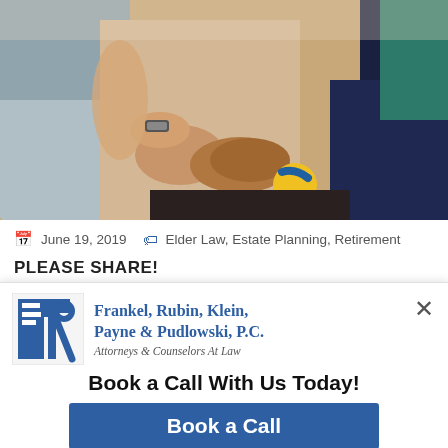[Figure (photo): Close-up photo of elderly person holding a yellow and blue ball, with a younger person's hand touching their arm, both seated. A third person in teal shirt is partially visible in background.]
📅 June 19, 2019   🏷 Elder Law, Estate Planning, Retirement
PLEASE SHARE!
[Figure (logo): Frankel, Rubin, Klein, Payne & Pudlowski, P.C. law firm advertisement with logo, tagline 'Book a Call With Us Today!' and a 'Book a Call' button.]